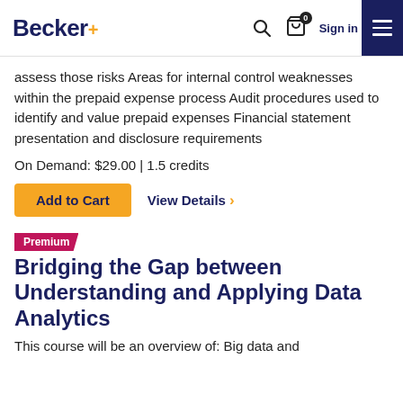Becker+ [search icon] [cart icon] 0 Sign in [menu]
assess those risks Areas for internal control weaknesses within the prepaid expense process Audit procedures used to identify and value prepaid expenses Financial statement presentation and disclosure requirements
On Demand: $29.00 | 1.5 credits
Add to Cart   View Details >
Premium
Bridging the Gap between Understanding and Applying Data Analytics
This course will be an overview of: Big data and